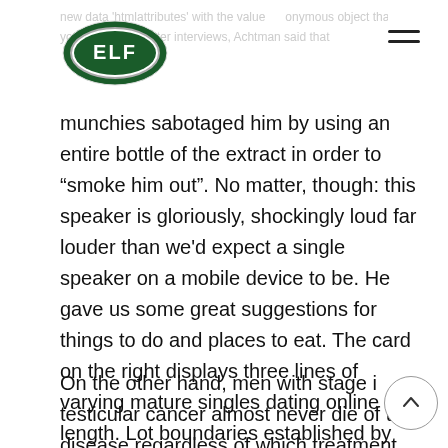ELF logo and navigation
munchies sabotaged him by using an entire bottle of the extract in order to “smoke him out”. No matter, though: this speaker is gloriously, shockingly loud far louder than we'd expect a single speaker on a mobile device to be. He gave us some great suggestions for things to do and places to eat. The card on the right displays three lines of varying mature singles dating online site length. Lot boundaries established by cadastral surveys may stand for hundreds of years without modification. I'm amazed they are still around and even looking for old men in the united states want to tour.
On the other hand, men with stage i testicular cancer almost never die of the disease regardless of which treatment they receive, so the risks of